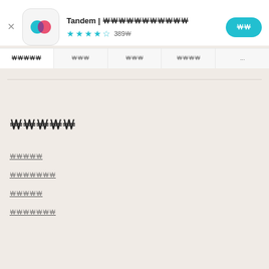Tandem | 언어교환 파트너 찾기 ★★★★☆ 389개
둘러보기 | 평점 | 리뷰 | 관련 앱 | ...
개발자 정보
앱 지원
개인정보 처리방침
서비스 약관
라이선스 계약